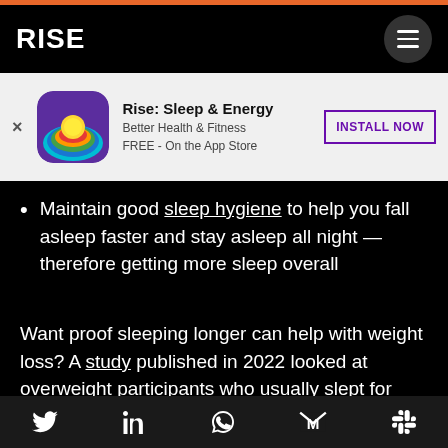RISE
[Figure (screenshot): Rise: Sleep & Energy app advertisement banner with app icon, title, subtitle 'Better Health & Fitness', 'FREE - On the App Store', and INSTALL NOW button]
Maintain good sleep hygiene to help you fall asleep faster and stay asleep all night — therefore getting more sleep overall
Want proof sleeping longer can help with weight loss? A study published in 2022 looked at overweight participants who usually slept for less than 6.5 hours a night. With a sleep hygiene counseling session, they extended their sleep time by about 1.2 hours a night.
Social share icons: Twitter, LinkedIn, WhatsApp, Gmail, Slack